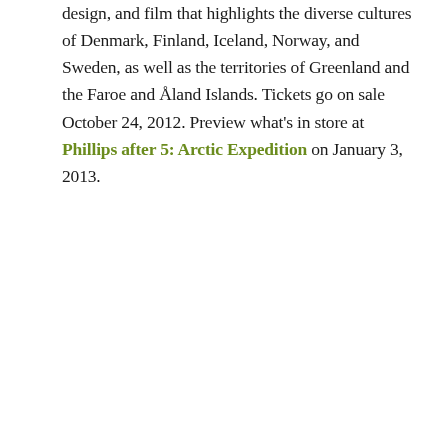design, and film that highlights the diverse cultures of Denmark, Finland, Iceland, Norway, and Sweden, as well as the territories of Greenland and the Faroe and Åland Islands. Tickets go on sale October 24, 2012. Preview what's in store at Phillips after 5: Arctic Expedition on January 3, 2013.